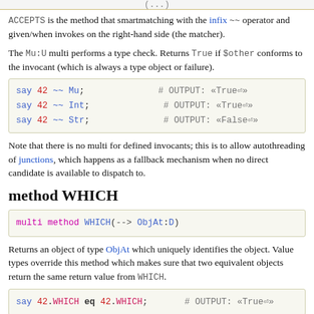(...)
ACCEPTS is the method that smartmatching with the infix ~~ operator and given/when invokes on the right-hand side (the matcher).
The Mu:U multi performs a type check. Returns True if $other conforms to the invocant (which is always a type object or failure).
[Figure (other): Code block showing: say 42 ~~ Mu; # OUTPUT: «True» / say 42 ~~ Int; # OUTPUT: «True» / say 42 ~~ Str; # OUTPUT: «False»]
Note that there is no multi for defined invocants; this is to allow autothreading of junctions, which happens as a fallback mechanism when no direct candidate is available to dispatch to.
method WHICH
[Figure (other): Code block showing: multi method WHICH(--> ObjAt:D)]
Returns an object of type ObjAt which uniquely identifies the object. Value types override this method which makes sure that two equivalent objects return the same return value from WHICH.
[Figure (other): Code block showing: say 42.WHICH eq 42.WHICH; # OUTPUT: «True»]